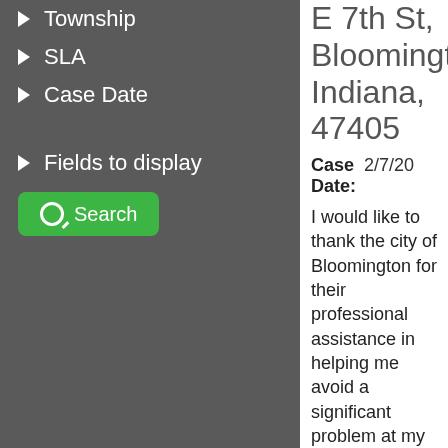Township
SLA
Case Date
Fields to display
Search
E 7th St, Bloomington, Indiana, 47405
Case Date: 2/7/20
I would like to thank the city of Bloomington for their professional assistance in helping me avoid a significant problem at my home during the recent snap of epic cold